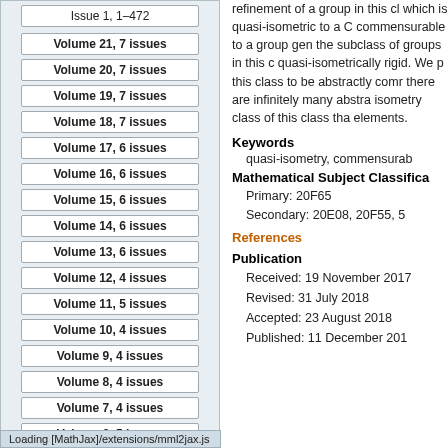Issue 1, 1–472
Volume 21, 7 issues
Volume 20, 7 issues
Volume 19, 7 issues
Volume 18, 7 issues
Volume 17, 6 issues
Volume 16, 6 issues
Volume 15, 6 issues
Volume 14, 6 issues
Volume 13, 6 issues
Volume 12, 4 issues
Volume 11, 5 issues
Volume 10, 4 issues
Volume 9, 4 issues
Volume 8, 4 issues
Volume 7, 4 issues
Volume 6, 5 issues
Volume 5, 4 issues
refinement of a group in this cl which is quasi-isometric to a C commensurable to a group gen the subclass of groups in this c quasi-isometrically rigid. We p this class to be abstractly comr there are infinitely many abstra isometry class of this class tha elements.
Keywords
quasi-isometry, commensurab
Mathematical Subject Classifica
Primary: 20F65
Secondary: 20E08, 20F55, 5
References
Publication
Received: 19 November 2017
Revised: 31 July 2018
Accepted: 23 August 2018
Published: 11 December 201
Loading [MathJax]/extensions/mml2jax.js